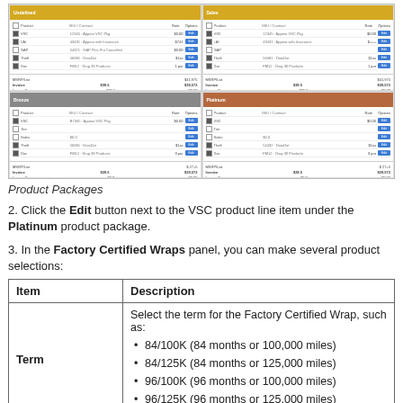[Figure (screenshot): Four product package panels in a 2x2 grid showing VSC product line items with Edit buttons, prices, and totals. Top-left panel has a yellow header, top-right has a yellow header, bottom-left has a gray header, bottom-right has an orange/brown header.]
Product Packages
2. Click the Edit button next to the VSC product line item under the Platinum product package.
3. In the Factory Certified Wraps panel, you can make several product selections:
| Item | Description |
| --- | --- |
| Term | Select the term for the Factory Certified Wrap, such as:
• 84/100K (84 months or 100,000 miles)
• 84/125K (84 months or 125,000 miles)
• 96/100K (96 months or 100,000 miles)
• 96/125K (96 months or 125,000 miles) |